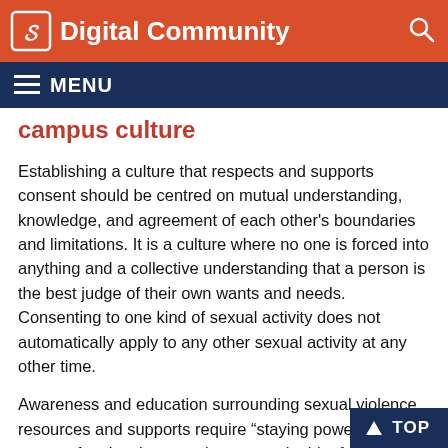Digital Community
campus culture
Establishing a culture that respects and supports consent should be centred on mutual understanding, knowledge, and agreement of each other's boundaries and limitations. It is a culture where no one is forced into anything and a collective understanding that a person is the best judge of their own wants and needs. Consenting to one kind of sexual activity does not automatically apply to any other sexual activity at any other time.
Awareness and education surrounding sexual violence, resources and supports require “staying power”. Staying power often involves persistence and a bit of repetition in order for us to build a